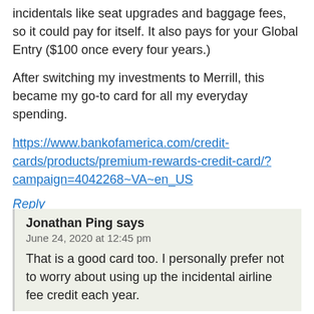incidentals like seat upgrades and baggage fees, so it could pay for itself. It also pays for your Global Entry ($100 once every four years.)
After switching my investments to Merrill, this became my go-to card for all my everyday spending.
https://www.bankofamerica.com/credit-cards/products/premium-rewards-credit-card/?campaign=4042268~VA~en_US
Reply
Jonathan Ping says
June 24, 2020 at 12:45 pm
That is a good card too. I personally prefer not to worry about using up the incidental airline fee credit each year.